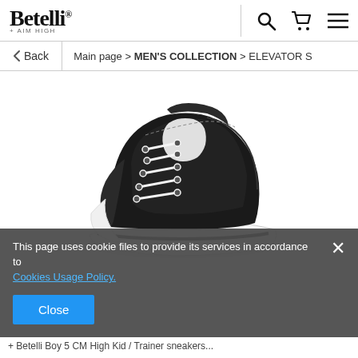[Figure (logo): Betelli brand logo with tagline '+ AIM HIGH']
Main page > MEN'S COLLECTION > ELEVATOR S
[Figure (photo): Black high-top canvas sneaker with white laces and white rubber sole, shown in 3/4 view on white background]
This page uses cookie files to provide its services in accordance to Cookies Usage Policy.
Close